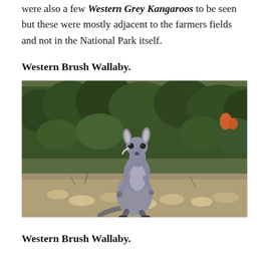were also a few Western Grey Kangaroos to be seen but these were mostly adjacent to the farmers fields and not in the National Park itself.
Western Brush Wallaby.
[Figure (photo): A Western Brush Wallaby standing on rocky ground facing the camera, surrounded by scrubby green bushes and vegetation in a natural Australian bush setting.]
Western Brush Wallaby.